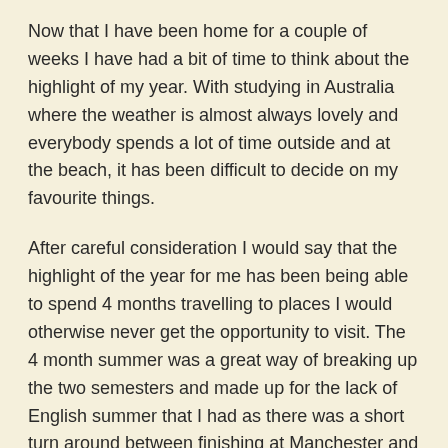Now that I have been home for a couple of weeks I have had a bit of time to think about the highlight of my year. With studying in Australia where the weather is almost always lovely and everybody spends a lot of time outside and at the beach, it has been difficult to decide on my favourite things.
After careful consideration I would say that the highlight of the year for me has been being able to spend 4 months travelling to places I would otherwise never get the opportunity to visit. The 4 month summer was a great way of breaking up the two semesters and made up for the lack of English summer that I had as there was a short turn around between finishing at Manchester and leaving for Brisbane. During this time I was able to travel to Fiji, New Zealand, Bali, Hong Kong and all along the East coast of Australia.